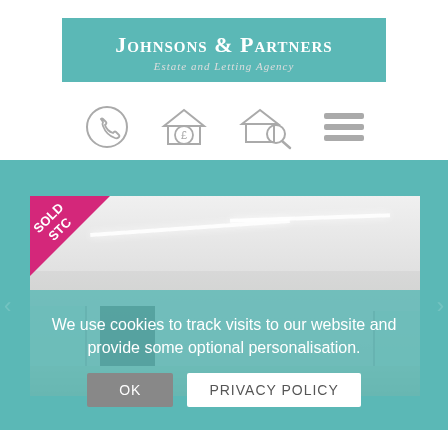[Figure (logo): Johnsons & Partners Estate and Letting Agency logo on teal background]
[Figure (illustration): Navigation icon bar with phone icon, house with pound sign, house with magnifier, and hamburger menu icons]
[Figure (photo): Property interior photo showing a modern room with ceiling light strips, windows, and a dark doorway. SOLD STC badge in top-left corner. Left and right navigation arrows visible.]
We use cookies to track visits to our website and provide some optional personalisation.
OK   PRIVACY POLICY